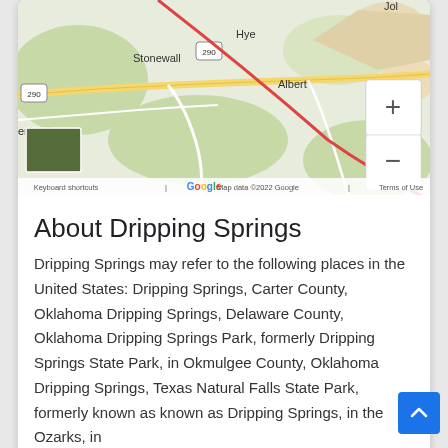[Figure (map): Google Maps screenshot showing area around Stonewall, Hye, Albert, and enbach in Texas, with Highway 290 marked, a red diagonal road, zoom controls (+/-), a satellite thumbnail, and footer text: Keyboard shortcuts | Map data ©2022 Google | Terms of Use]
About Dripping Springs
Dripping Springs may refer to the following places in the United States: Dripping Springs, Carter County, Oklahoma Dripping Springs, Delaware County, Oklahoma Dripping Springs Park, formerly Dripping Springs State Park, in Okmulgee County, Oklahoma Dripping Springs, Texas Natural Falls State Park, formerly known as known as Dripping Springs, in the Ozarks, in